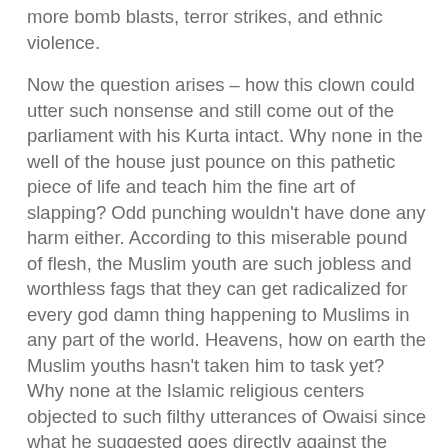more bomb blasts, terror strikes, and ethnic violence.
Now the question arises – how this clown could utter such nonsense and still come out of the parliament with his Kurta intact. Why none in the well of the house just pounce on this pathetic piece of life and teach him the fine art of slapping? Odd punching wouldn't have done any harm either. According to this miserable pound of flesh, the Muslim youth are such jobless and worthless fags that they can get radicalized for every god damn thing happening to Muslims in any part of the world. Heavens, how on earth the Muslim youths hasn't taken him to task yet? Why none at the Islamic religious centers objected to such filthy utterances of Owaisi since what he suggested goes directly against the religion which supposed to teach peace? Why even the speaker of the house didn't found it fit enough to throw this scumbag out of the house forever? Didn't this jackal insulted the very ethos of our democracy? But he is still out there and laughing at us and with all probability there won't be any action against him ever.